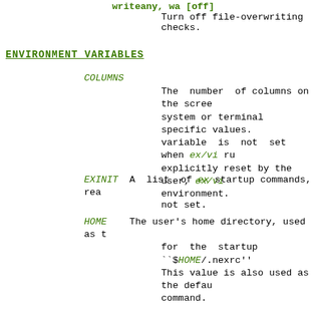writeany, wa [off]  Turn off file-overwriting checks.
ENVIRONMENT VARIABLES
COLUMNS  The number of columns on the screen. system or terminal specific values. variable is not set when ex/vi runs, explicitly reset by the user, ex/vi environment.
EXINIT  A list of ex startup commands, read if not set.
HOME  The user's home directory, used as the for the startup ``$HOME/.nexrc'' This value is also used as the default command.
LINES  The number of rows on the screen. tem or terminal specific values. If able is not set when ex/vi runs, or itly reset by the user, ex/vi enters ment.
NEXINIT  A list of ex startup commands.